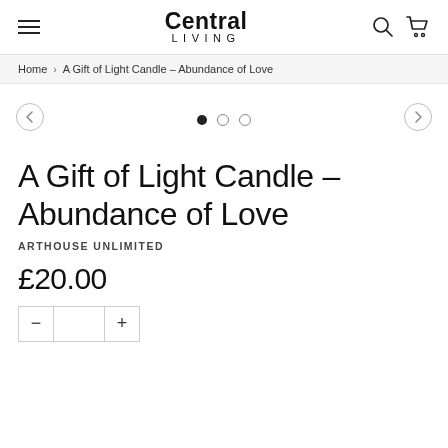Central LIVING
Home › A Gift of Light Candle – Abundance of Love
[Figure (other): Image carousel navigation with left arrow, three dots (one filled, two empty), and right arrow]
A Gift of Light Candle – Abundance of Love
ARTHOUSE UNLIMITED
£20.00
[Figure (other): Quantity selector showing minus button, quantity field, plus button]